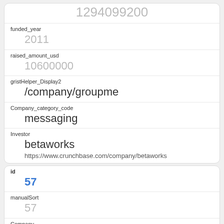| 1294099200 |
| funded_year | 2011 |
| raised_amount_usd | 10600000 |
| gristHelper_Display2 | /company/groupme |
| Company_category_code | messaging |
| Investor | betaworks | https://www.crunchbase.com/company/betaworks |
| id | 57 |
| manualSort | 57 |
| Company | 1084 |
| investor_permalink | /company/betaworks |